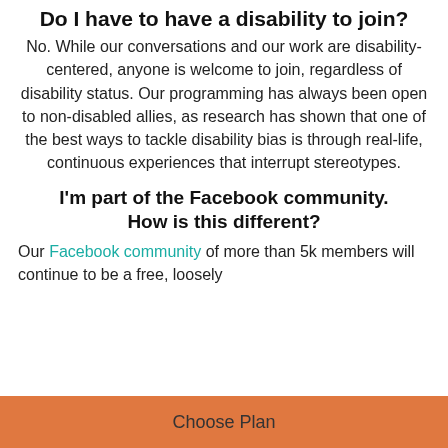Do I have to have a disability to join?
No. While our conversations and our work are disability-centered, anyone is welcome to join, regardless of disability status. Our programming has always been open to non-disabled allies, as research has shown that one of the best ways to tackle disability bias is through real-life, continuous experiences that interrupt stereotypes.
I'm part of the Facebook community. How is this different?
Our Facebook community of more than 5k members will continue to be a free, loosely
Choose Plan